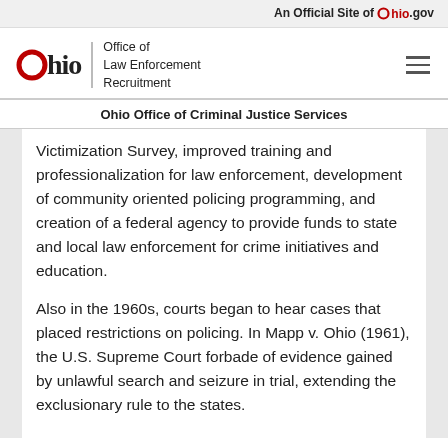An Official Site of Ohio.gov
[Figure (logo): Ohio Office of Law Enforcement Recruitment logo with Ohio state branding and hamburger menu icon]
Ohio Office of Criminal Justice Services
Victimization Survey, improved training and professionalization for law enforcement, development of community oriented policing programming, and creation of a federal agency to provide funds to state and local law enforcement for crime initiatives and education.
Also in the 1960s, courts began to hear cases that placed restrictions on policing. In Mapp v. Ohio (1961), the U.S. Supreme Court forbade of evidence gained by unlawful search and seizure in trial, extending the exclusionary rule to the states.